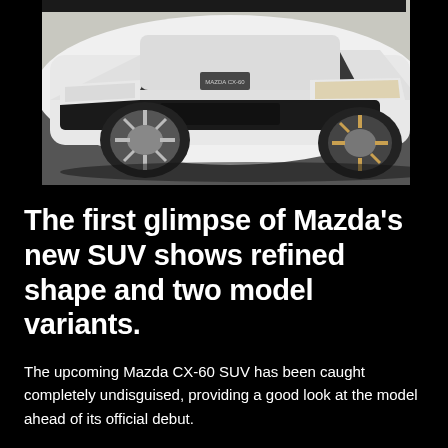[Figure (photo): White Mazda CX-60 SUV photographed from a low front-side angle on a road, showing the front fascia, grille with Mazda logo, headlights, and alloy wheels. Black background borders the photo.]
The first glimpse of Mazda’s new SUV shows refined shape and two model variants.
The upcoming Mazda CX-60 SUV has been caught completely undisguised, providing a good look at the model ahead of its official debut.
The images come from the YouTube channel CSK Review, which captured the shots while the model was shooting for a